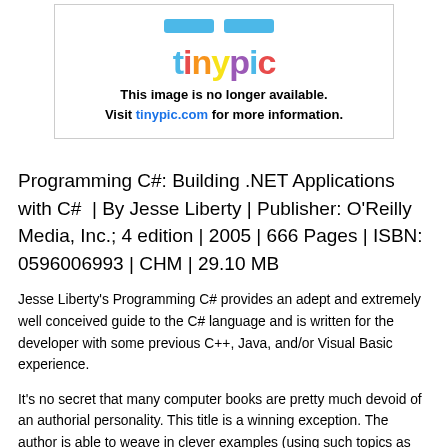[Figure (other): Tinypic image placeholder with logo and message: This image is no longer available. Visit tinypic.com for more information.]
Programming C#: Building .NET Applications with C#  | By Jesse Liberty | Publisher: O'Reilly Media, Inc.; 4 edition | 2005 | 666 Pages | ISBN: 0596006993 | CHM | 29.10 MB
Jesse Liberty's Programming C# provides an adept and extremely well conceived guide to the C# language and is written for the developer with some previous C++, Java, and/or Visual Basic experience.
It's no secret that many computer books are pretty much devoid of an authorial personality. This title is a winning exception. The author is able to weave in clever examples (using such topics as his own long experience in computing, his dog, Star Trek, etc.) without being coy or getting in the way of presenting real technical information. Liberty's wide experience in computers and general writing skill shows, as he is able to draw on a